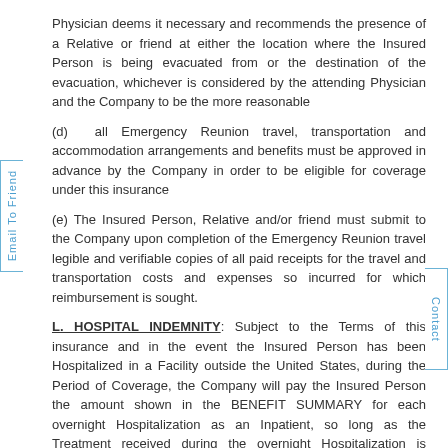Physician deems it necessary and recommends the presence of a Relative or friend at either the location where the Insured Person is being evacuated from or the destination of the evacuation, whichever is considered by the attending Physician and the Company to be the more reasonable
(d) all Emergency Reunion travel, transportation and accommodation arrangements and benefits must be approved in advance by the Company in order to be eligible for coverage under this insurance
(e) The Insured Person, Relative and/or friend must submit to the Company upon completion of the Emergency Reunion travel legible and verifiable copies of all paid receipts for the travel and transportation costs and expenses so incurred for which reimbursement is sought.
L. HOSPITAL INDEMNITY: Subject to the Terms of this insurance and in the event the Insured Person has been Hospitalized in a Facility outside the United States, during the Period of Coverage, the Company will pay the Insured Person the amount shown in the BENEFIT SUMMARY for each overnight Hospitalization as an Inpatient, so long as the Treatment received during the overnight Hospitalization is considered to be an Eligible Medical E...